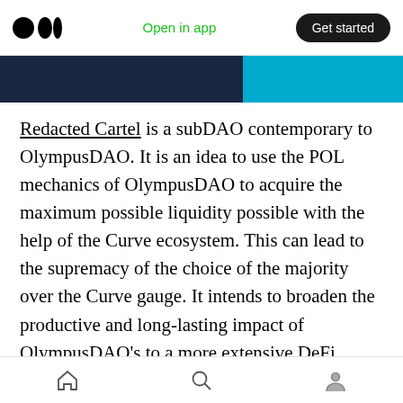Open in app  Get started
[Figure (illustration): Partial banner image with dark navy and cyan blue sections]
Redacted Cartel is a subDAO contemporary to OlympusDAO. It is an idea to use the POL mechanics of OlympusDAO to acquire the maximum possible liquidity possible with the help of the Curve ecosystem. This can lead to the supremacy of the choice of the majority over the Curve gauge. It intends to broaden the productive and long-lasting impact of OlympusDAO’s to a more extensive DeFi ecosystem without making OlympusDAO float away from its primary values. It also wants to
Home  Search  Profile